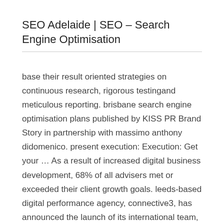SEO Adelaide | SEO – Search Engine Optimisation
base their result oriented strategies on continuous research, rigorous testingand meticulous reporting. brisbane search engine optimisation plans published by KISS PR Brand Story in partnership with massimo anthony didomenico. present execution: Execution: Get your … As a result of increased digital business development, 68% of all advisers met or exceeded their client growth goals. leeds-based digital performance agency, connective3, has announced the launch of its international team, following a series … Advantages Of search engine optimisation top search engine optimisation This is the latest achievement for the rapidly growing search engine optimization (seo) company, which has added two office locations in its to...